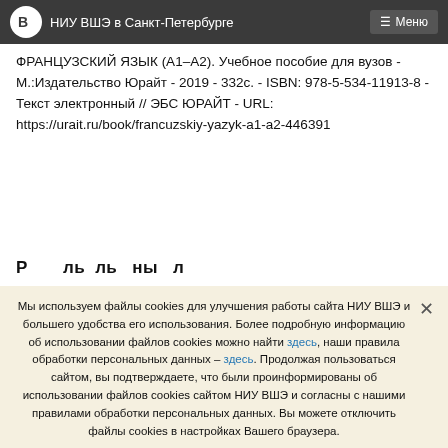НИУ ВШЭ в Санкт-Петербурге  Меню
ФРАНЦУЗСКИЙ ЯЗЫК (А1–А2). Учебное пособие для вузов - М.:Издательство Юрайт - 2019 - 332с. - ISBN: 978-5-534-11913-8 - Текст электронный // ЭБС ЮРАЙТ - URL: https://urait.ru/book/francuzskiy-yazyk-a1-a2-446391
Р...ль ль ны...л
Мы используем файлы cookies для улучшения работы сайта НИУ ВШЭ и большего удобства его использования. Более подробную информацию об использовании файлов cookies можно найти здесь, наши правила обработки персональных данных – здесь. Продолжая пользоваться сайтом, вы подтверждаете, что были проинформированы об использовании файлов cookies сайтом НИУ ВШЭ и согласны с нашими правилами обработки персональных данных. Вы можете отключить файлы cookies в настройках Вашего браузера.